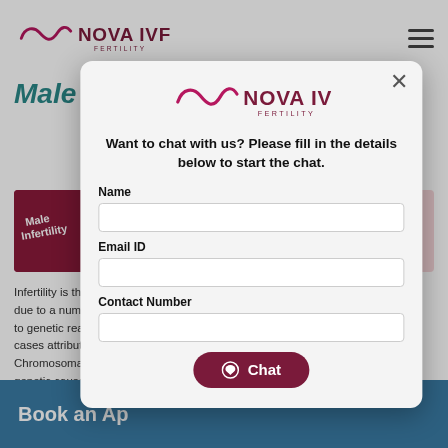NOVA IVF FERTILITY
Male Infertility?
[Figure (photo): Medical items on red background with 'Male Infertility' text visible]
What are the genetic causes for male infertility?
Infertility is the in... due to a number... to genetic reaso... cases attribute t... Chromosomal a... genetic causes c... cannot be preve... can be overcom... Infertility associa... production of ab...
[Figure (screenshot): Chat modal dialog from Nova IVF Fertility website asking user to fill in Name, Email ID, and Contact Number to start a chat]
Book an Ap...